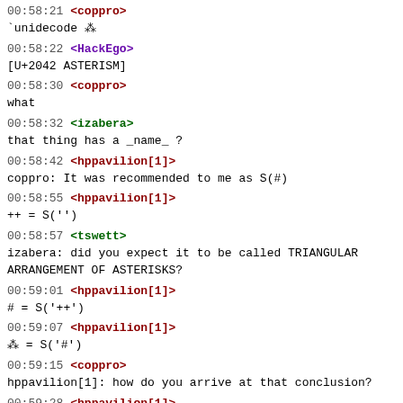00:58:21 <coppro>
`unidecode ⁂
00:58:22 <HackEgo>
[U+2042 ASTERISM]
00:58:30 <coppro>
what
00:58:32 <izabera>
that thing has a _name_ ?
00:58:42 <hppavilion[1]>
coppro: It was recommended to me as S(#)
00:58:55 <hppavilion[1]>
++ = S('')
00:58:57 <tswett>
izabera: did you expect it to be called TRIANGULAR ARRANGEMENT OF ASTERISKS?
00:59:01 <hppavilion[1]>
# = S('++')
00:59:07 <hppavilion[1]>
⁂ = S('#')
00:59:15 <coppro>
hppavilion[1]: how do you arrive at that conclusion?
00:59:28 <hppavilion[1]>
coppro: It was recommended by someone. Probably shachaf.
00:59:55 <hppavilion[1]>